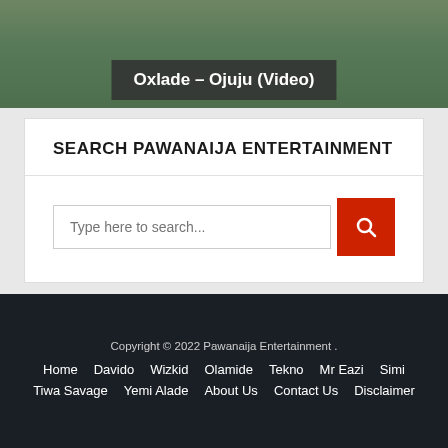Oxlade – Ojuju (Video)
SEARCH PAWANAIJA ENTERTAINMENT
[Figure (screenshot): Search widget with text input placeholder 'Type here to search...' and a red search button with magnifying glass icon]
Copyright © 2022 Pawanaija Entertainment . Home Davido Wizkid Olamide Tekno Mr Eazi Simi Tiwa Savage Yemi Alade About Us Contact Us Disclaimer